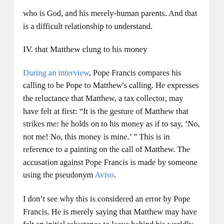who is God, and his merely-human parents. And that is a difficult relationship to understand.
IV. that Matthew clung to his money
During an interview, Pope Francis compares his calling to be Pope to Matthew's calling. He expresses the reluctance that Matthew, a tax collector, may have felt at first: “It is the gesture of Matthew that strikes me: he holds on to his money as if to say, ‘No, not me! No, this money is mine.’ ” This is in reference to a painting on the call of Matthew. The accusation against Pope Francis is made by someone using the pseudonym Aviso.
I don’t see why this is considered an error by Pope Francis. He is merely saying that Matthew may have felt an initial reluctance to leave behind his worldly ways — as a tax collector, he would have been relatively wealthy from the exploitation of others. He may have initially clung to his